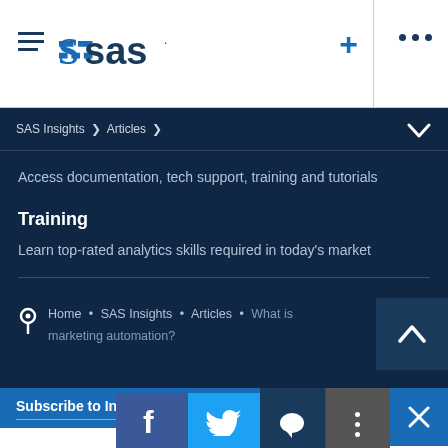SAS logo header with hamburger menu, plus and dots icons
SAS Insights > Articles >
Access documentation, tech support, training and tutorials
Training
Learn top-rated analytics skills required in today's market
Home • SAS Insights • Articles • What is marketing automation?
Subscribe to Insights newsletter